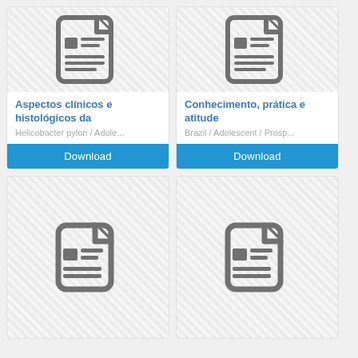[Figure (illustration): Document icon with lines representing text content - top left card]
Aspectos clínicos e histológicos da
Helicobacter pylori / Adole...
[Figure (illustration): Document icon with lines representing text content - top right card]
Conhecimento, prática e atitude
Brazil / Adolescent / Prosp...
[Figure (illustration): Document icon - bottom left card (partially visible)]
[Figure (illustration): Document icon - bottom right card (partially visible)]